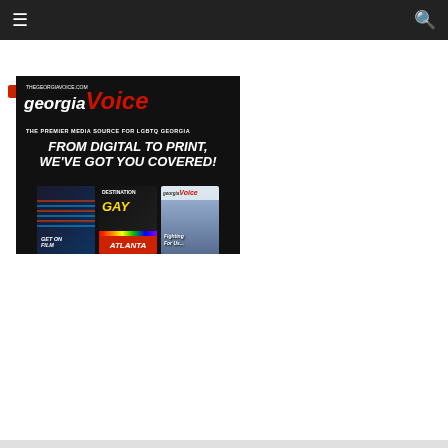≡  🔍
breadcrumb navigation with red button and page indicator
[Figure (advertisement): Georgia Voice advertisement. Black background with 'georgia Voice' logo in white and red italic text. Tagline: 'THE PREMIER MEDIA SOURCE FOR LGBTQ GEORGIA'. Main text: 'FROM DIGITAL TO PRINT, WE'VE GOT YOU COVERED!' with three magazine covers at bottom: 'GET ON FILM', 'DESTINATION GAY ATLANTA', and 'georgia Voice - Fighting For Us...']